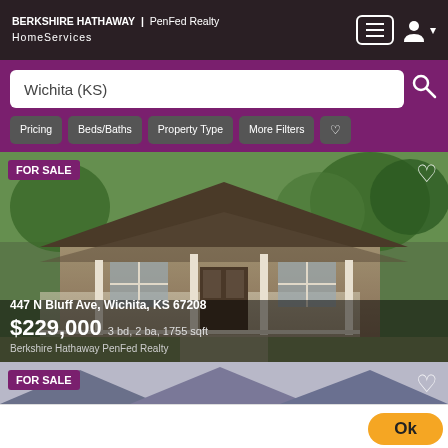BERKSHIRE HATHAWAY | PenFed Realty HomeServices
Wichita (KS)
Pricing  Beds/Baths  Property Type  More Filters
[Figure (photo): House listing photo for 447 N Bluff Ave, Wichita, KS 67208 — a craftsman bungalow with front porch and trees]
FOR SALE
447 N Bluff Ave, Wichita, KS 67208
$229,000  3 bd, 2 ba, 1755 sqft
Berkshire Hathaway PenFed Realty
FOR SALE
michellemcrouch.com uses cookies to ensure the best expe
Learn More
Privacy · Terms